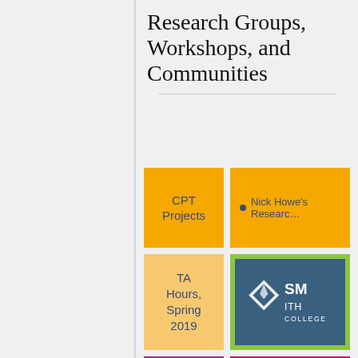Research Groups, Workshops, and Communities
[Figure (infographic): Grid of colored tiles: CPT Projects (yellow), Nick Howe's Research (orange, partially visible), TA Hours Spring 2019 (peach/light orange), Smith College logo on green background, purple tile, magenta tile]
Nick Howe's Resear...